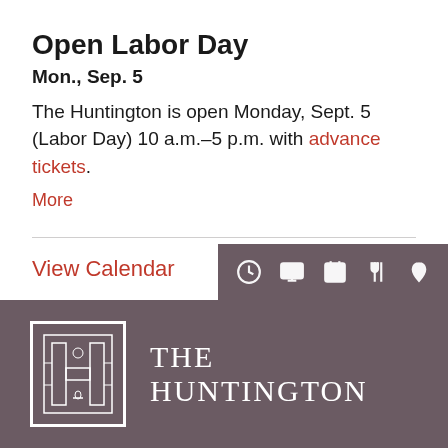Open Labor Day
Mon., Sep. 5
The Huntington is open Monday, Sept. 5 (Labor Day) 10 a.m.–5 p.m. with advance tickets.
More
View Calendar
[Figure (screenshot): Website toolbar with icons: clock, screen, calendar, utensils, and map pin on a dark mauve background]
[Figure (logo): The Huntington logo: ornate H in a bordered box with white text THE HUNTINGTON on dark mauve background]